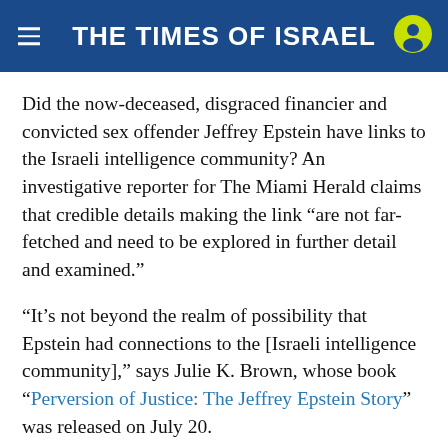THE TIMES OF ISRAEL
Did the now-deceased, disgraced financier and convicted sex offender Jeffrey Epstein have links to the Israeli intelligence community? An investigative reporter for The Miami Herald claims that credible details making the link “are not far-fetched and need to be explored in further detail and examined.”
“It’s not beyond the realm of possibility that Epstein had connections to the [Israeli intelligence community],” says Julie K. Brown, whose book “Perversion of Justice: The Jeffrey Epstein Story” was released on July 20.
“Robert Maxwell certainly had those kinds of connections, and Epstein had a close relationship